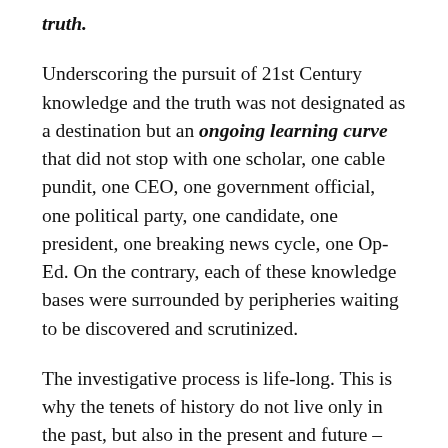truth.
Underscoring the pursuit of 21st Century knowledge and the truth was not designated as a destination but an ongoing learning curve that did not stop with one scholar, one cable pundit, one CEO, one government official, one political party, one candidate, one president, one breaking news cycle, one Op-Ed. On the contrary, each of these knowledge bases were surrounded by peripheries waiting to be discovered and scrutinized.
The investigative process is life-long. This is why the tenets of history do not live only in the past, but also in the present and future – ever